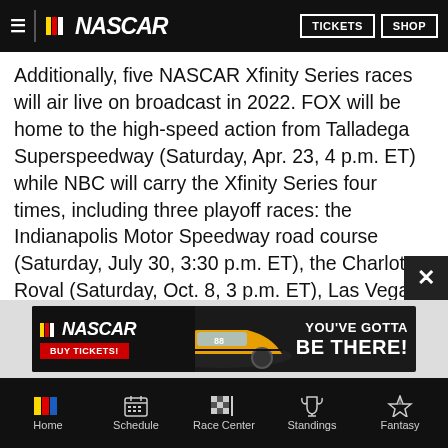NASCAR — TICKETS  SHOP
Additionally, five NASCAR Xfinity Series races will air live on broadcast in 2022. FOX will be home to the high-speed action from Talladega Superspeedway (Saturday, Apr. 23, 4 p.m. ET) while NBC will carry the Xfinity Series four times, including three playoff races: the Indianapolis Motor Speedway road course (Saturday, July 30, 3:30 p.m. ET), the Charlotte Roval (Saturday, Oct. 8, 3 p.m. ET), Las Vegas Motor Speedway (Saturday, Oct. 15, 3 p.m. ET) and Martinsville Speedway (Saturday, Oct. 29, 3:30 p.m. ET).
[Figure (infographic): NASCAR advertisement banner: NASCAR logo with 'BUY TICKETS!' button on left, racing car image in center, 'YOU'VE GOTTA BE THERE!' text on right]
Home  Schedule  Race Center  Standings  Fantasy